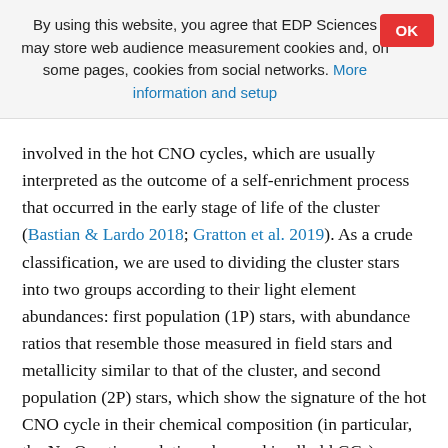By using this website, you agree that EDP Sciences may store web audience measurement cookies and, on some pages, cookies from social networks. More information and setup
involved in the hot CNO cycles, which are usually interpreted as the outcome of a self-enrichment process that occurred in the early stage of life of the cluster (Bastian & Lardo 2018; Gratton et al. 2019). As a crude classification, we are used to dividing the cluster stars into two groups according to their light element abundances: first population (1P) stars, with abundance ratios that resemble those measured in field stars and metallicity similar to that of the cluster, and second population (2P) stars, which show the signature of the hot CNO cycle in their chemical composition (in particular, the Na-O anti-correlation observed in all old GCs).